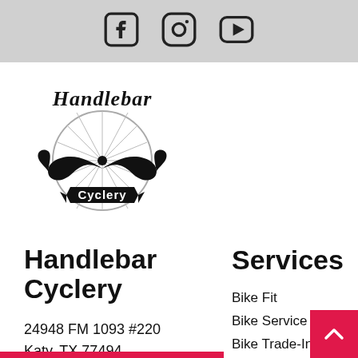Social media icons: Facebook, Instagram, YouTube
[Figure (logo): Handlebar Cyclery logo with mustache and bicycle wheel design]
Handlebar Cyclery
24948 FM 1093 #220
Katy, TX 77494
(832) 437-7584
Services
Bike Fit
Bike Service & Repair
Bike Trade-In
Pickup & Delivery